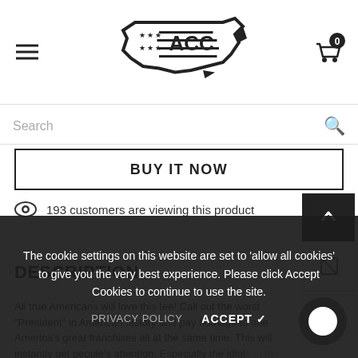[Figure (logo): ACC logo showing United States map outline with stars and flag stripes, text ACC inside]
Search
BUY IT NOW
193 customers are viewing this product
DESCRIPTION
All true Americans will love this tee! Call out the worst "President" in American history and pay homage to one America's great franchises all at the same time. This will instantly get people's attention. Especially the idiots in the White House.
The cookie settings on this website are set to 'allow all cookies' to give you the very best experience. Please click Accept Cookies to continue to use the site.
PRIVACY POLICY   ACCEPT ✓